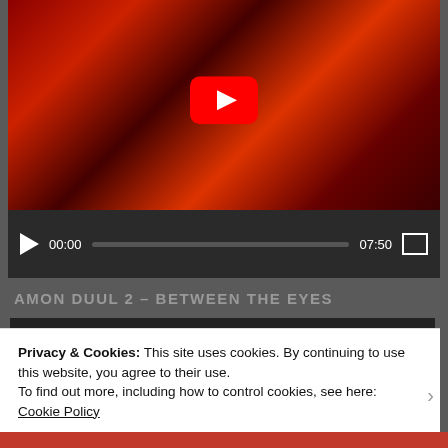[Figure (screenshot): YouTube video thumbnail showing dark red horror-themed imagery with YouTube play button overlay and video controls showing 00:00 / 07:50]
AMON DUUL 2 – BETWEEN THE EYES
Code 150: Unknown error.
Download File: https://www.youtube.com/watch?v=7szufq3CRrk&_=3
Video unavailable
Privacy & Cookies: This site uses cookies. By continuing to use this website, you agree to their use.
To find out more, including how to control cookies, see here: Cookie Policy
Close and accept